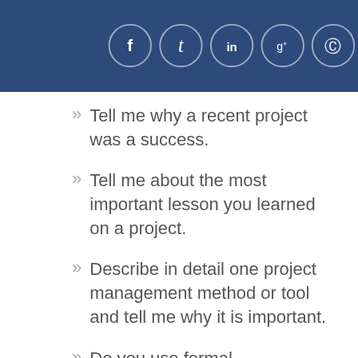Social media icons: facebook, twitter, linkedin, google+, pinterest
Tell me why a recent project was a success.
Tell me about the most important lesson you learned on a project.
Describe in detail one project management method or tool and tell me why it is important.
Do you use formal methodologies?
What in your view are the main reasons for project failure?